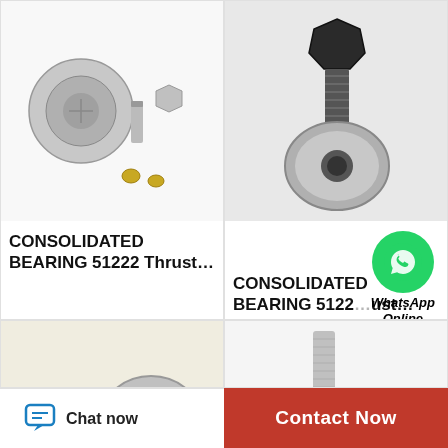[Figure (photo): Cam follower bearing components disassembled: a cam follower with stud, a hex nut, and two small brass fittings on white background]
CONSOLIDATED BEARING 51222 Thrust…
[Figure (photo): Cam follower bearing with threaded stud and hex nut, side view on white background]
CONSOLIDATED BEARING 5122…ust…
[Figure (photo): Cam follower bearing assembly with dark knurled end cap and hex nut, on cream background]
[Figure (photo): Cam follower bearing with long threaded stud and hex nuts, on white background]
[Figure (other): WhatsApp Online green circle icon with chat bubble and text 'WhatsApp Online']
Chat now
Contact Now